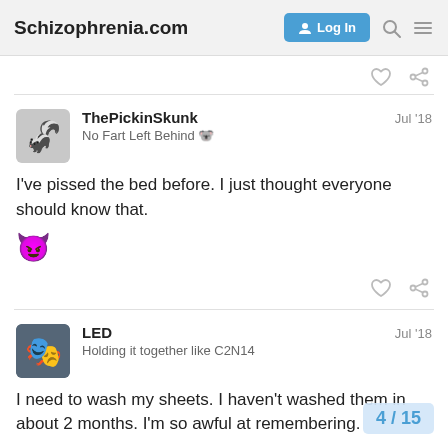Schizophrenia.com  Log In
ThePickinSkunk  Jul '18
No Fart Left Behind 🐨
I've pissed the bed before. I just thought everyone should know that.
😈
LED  Jul '18
Holding it together like C2N14
I need to wash my sheets. I haven't washed them in about 2 months. I'm so awful at remembering.
4 / 15